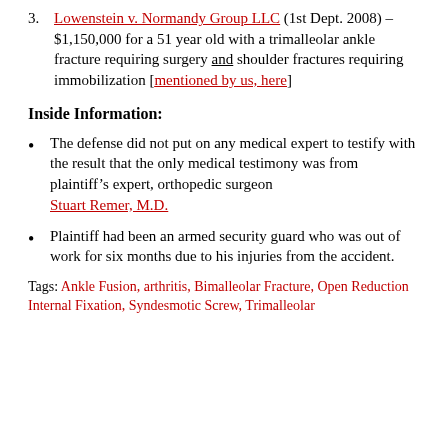3. Lowenstein v. Normandy Group LLC (1st Dept. 2008) – $1,150,000 for a 51 year old with a trimalleolar ankle fracture requiring surgery and shoulder fractures requiring immobilization [mentioned by us, here]
Inside Information:
The defense did not put on any medical expert to testify with the result that the only medical testimony was from plaintiff's expert, orthopedic surgeon Stuart Remer, M.D.
Plaintiff had been an armed security guard who was out of work for six months due to his injuries from the accident.
Tags: Ankle Fusion, arthritis, Bimalleolar Fracture, Open Reduction Internal Fixation, Syndesmotic Screw, Trimalleolar